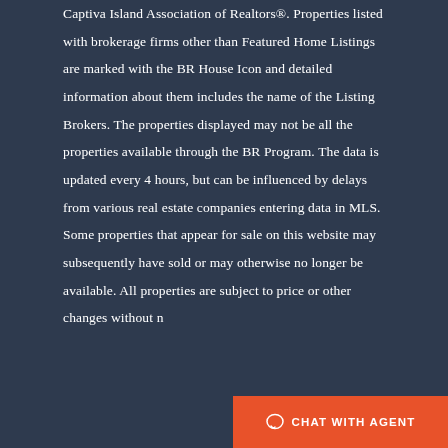Captiva Island Association of Realtors®. Properties listed with brokerage firms other than Featured Home Listings are marked with the BR House Icon and detailed information about them includes the name of the Listing Brokers. The properties displayed may not be all the properties available through the BR Program. The data is updated every 4 hours, but can be influenced by delays from various real estate companies entering data in MLS. Some properties that appear for sale on this website may subsequently have sold or may otherwise no longer be available. All properties are subject to price or other changes without n...